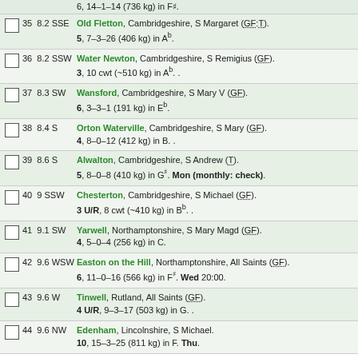35 8.2 SSE — Old Fletton, Cambridgeshire, S Margaret (GF:T). 5, 7–3–26 (406 kg) in Ab.
36 8.2 SSW — Water Newton, Cambridgeshire, S Remigius (GF). 3, 10 cwt (~510 kg) in Ab.
37 8.3 SW — Wansford, Cambridgeshire, S Mary V (GF). 6, 3–3–1 (191 kg) in Eb.
38 8.4 S — Orton Waterville, Cambridgeshire, S Mary (GF). 4, 8–0–12 (412 kg) in B.
39 8.6 S — Alwalton, Cambridgeshire, S Andrew (T). 5, 8–0–8 (410 kg) in G#. Mon (monthly: check).
40 9 SSW — Chesterton, Cambridgeshire, S Michael (GF). 3 U/R, 8 cwt (~410 kg) in Bb.
41 9.1 SW — Yarwell, Northamptonshire, S Mary Magd (GF). 4, 5–0–4 (256 kg) in C.
42 9.6 WSW — Easton on the Hill, Northamptonshire, All Saints (GF). 6, 11–0–16 (566 kg) in F#. Wed 20:00.
43 9.6 W — Tinwell, Rutland, All Saints (GF). 4 U/R, 9–3–17 (503 kg) in G.
44 9.6 NW — Edenham, Lincolnshire, S Michael. 10, 15–3–25 (811 kg) in F. Thu.